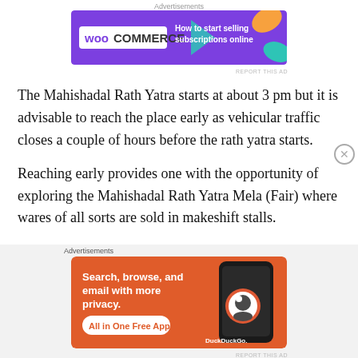[Figure (screenshot): WooCommerce advertisement banner with purple background, WooCommerce logo on left and text 'How to start selling subscriptions online' with colorful leaf decorations on right]
The Mahishadal Rath Yatra starts at about 3 pm but it is advisable to reach the place early as vehicular traffic closes a couple of hours before the rath yatra starts.
Reaching early provides one with the opportunity of exploring the Mahishadal Rath Yatra Mela (Fair) where wares of all sorts are sold in makeshift stalls.
The rath yatra is inaugurated by the local king Hariprasad
[Figure (screenshot): DuckDuckGo advertisement banner with orange background showing 'Search, browse, and email with more privacy. All in One Free App' with a phone image on right]